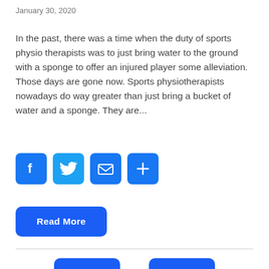January 30, 2020
In the past, there was a time when the duty of sports physio therapists was to just bring water to the ground with a sponge to offer an injured player some alleviation. Those days are gone now. Sports physiotherapists nowadays do way greater than just bring a bucket of water and a sponge. They are...
[Figure (infographic): Social share buttons: Facebook, Twitter, Email, and a plus/more button]
Read More
Previous  5  Next